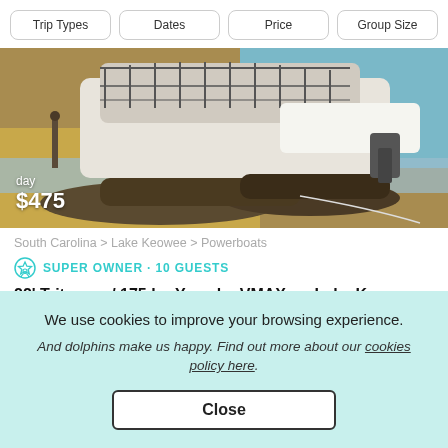Trip Types | Dates | Price | Group Size
[Figure (photo): Pontoon boat viewed from the back, docked near a sandy/muddy shore with water visible. Shows the twin pontoon tubes and outboard motor area. Price overlay shows 'day $475'.]
South Carolina > Lake Keowee > Powerboats
SUPER OWNER · 10 GUESTS
22' Tritoon w/ 175 hp Yamaha VMAX on Lake Keowee
We use cookies to improve your browsing experience.
And dolphins make us happy. Find out more about our cookies policy here.
Close